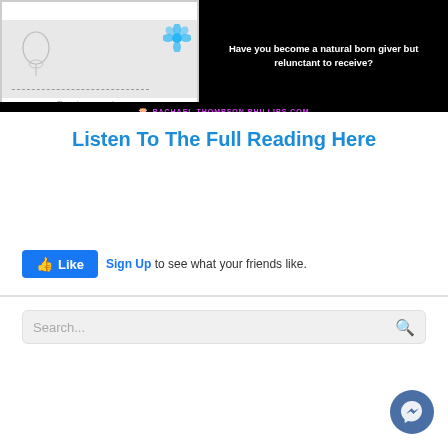[Figure (illustration): Dark background promotional image. Left side shows a white framed sketch/illustration with a blue flower and head/face drawing with dashed lines, caption 'Observe how you expend your energy.' Right side has white bold text: 'Have you become a natural born giver but relunctant to receive?' Bottom center shows lotus icon and text 'RACHAEL THOMPSON PHILLIPS.COM' in pink/magenta.]
Listen To The Full Reading Here
[Figure (screenshot): Facebook Like button (blue) with thumbs up icon and text 'Like', followed by 'Sign Up to see what your friends like.']
[Figure (screenshot): Search bar with placeholder text 'Search...' and magnifying glass icon on the right, on a light gray background.]
[Figure (other): Facebook Messenger circular chat button in dark blue/navy, bottom right corner.]